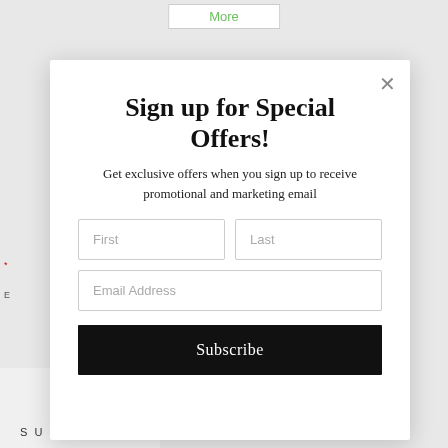Sign up for Special Offers!
Get exclusive offers when you sign up to receive promotional and marketing email
[Figure (screenshot): Email signup modal popup with First, Last, and Email Address input fields, and a Subscribe button]